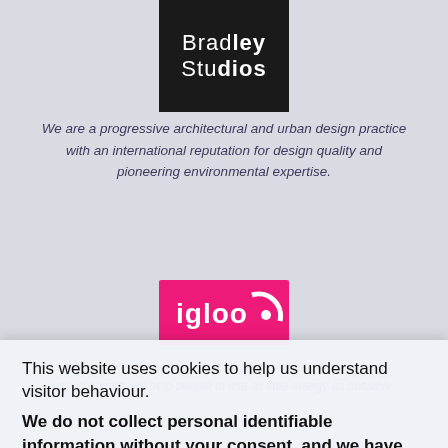[Figure (logo): Bradley Studios logo — white text on black background reading 'Bradley Studios']
We are a progressive architectural and urban design practice with an international reputation for design quality and pioneering environmental expertise.
[Figure (logo): igloo logo — white text on bright pink/magenta background with circular graphic element]
Using a mix of technology, and by analysing data about energy use in homes, we help people to use as little energy as possible.
[Figure (logo): PassivSystems logo with circular icon]
We make energy systems more efficient using integrated meter data collection services to create sustainable value by managing flexibility.
[Figure (logo): Safeguard Europe logo with text 'MAKING BUILDINGS DRY']
Safeguard Europe Ltd is a UK-based company specialising in
This website uses cookies to help us understand visitor behaviour.
We do not collect personal identifiable information without your consent, and we have anonymised your IP address accordingly.
Our cookie policy
Okay